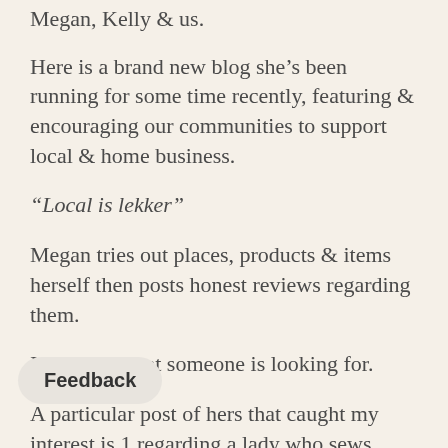Megan, Kelly & us.
Here is a brand new blog she’s been running for some time recently, featuring & encouraging our communities to support local & home business.
“Local is lekker”
Megan tries out places, products & items herself then posts honest reviews regarding them.
It may be what someone is looking for.
A particular post of hers that caught my interest is 1 regarding a lady who sews adorable pillows in shapes according to choice. She created a happy recovery lung cushion for Megan.